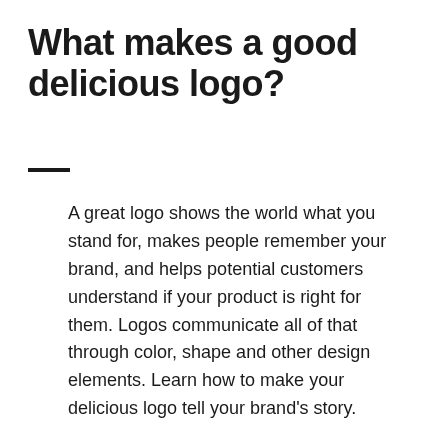What makes a good delicious logo?
A great logo shows the world what you stand for, makes people remember your brand, and helps potential customers understand if your product is right for them. Logos communicate all of that through color, shape and other design elements. Learn how to make your delicious logo tell your brand's story.